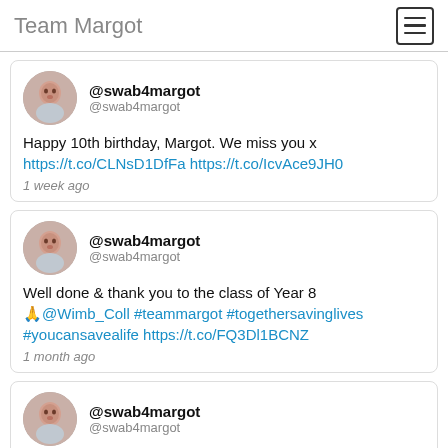Team Margot
@swab4margot @swab4margot
Happy 10th birthday, Margot. We miss you x
https://t.co/CLNsD1DfFa https://t.co/IcvAce9JH0
1 week ago
@swab4margot @swab4margot
Well done & thank you to the class of Year 8 🙏@Wimb_Coll #teammargot #togethersavinglives #youcansavealife https://t.co/FQ3Dl1BCNZ
1 month ago
@swab4margot @swab4margot
😂… and now with the statue in all its glory
https://t.co/1LixWy3iDX https://t.co/G6Q8IGQdw0
2 months ago